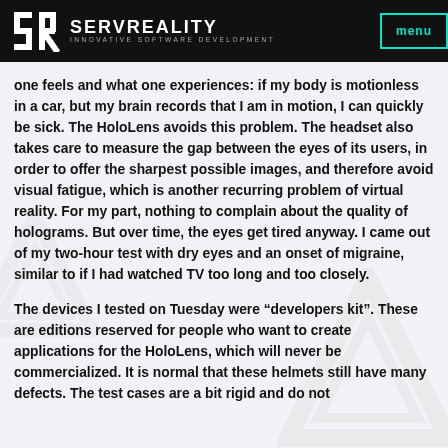SERVREALITY INNOVATIVE SOFTWARE DEVELOPMENT | menu
one feels and what one experiences: if my body is motionless in a car, but my brain records that I am in motion, I can quickly be sick. The HoloLens avoids this problem. The headset also takes care to measure the gap between the eyes of its users, in order to offer the sharpest possible images, and therefore avoid visual fatigue, which is another recurring problem of virtual reality. For my part, nothing to complain about the quality of holograms. But over time, the eyes get tired anyway. I came out of my two-hour test with dry eyes and an onset of migraine, similar to if I had watched TV too long and too closely.
The devices I tested on Tuesday were “developers kit”. These are editions reserved for people who want to create applications for the HoloLens, which will never be commercialized. It is normal that these helmets still have many defects. The test cases are a bit rigid and do not